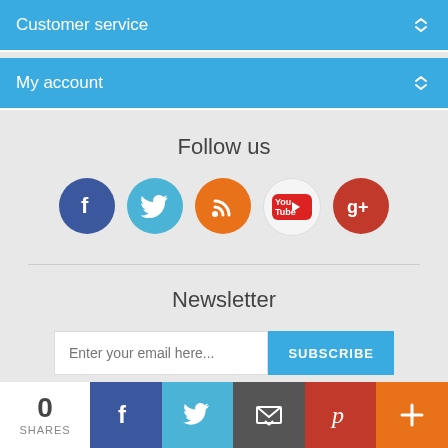Customer service
My account
Follow us
[Figure (infographic): Row of 5 social media icon circles: Facebook (dark blue), Twitter (light blue), RSS (orange), YouTube (white/light), Google+ (red)]
Newsletter
[Figure (other): Newsletter email subscription form with text input 'Enter your email here...' and blue SUBSCRIBE button]
0 SHARES | Facebook share | Twitter share | Email share | Pinterest share | More share